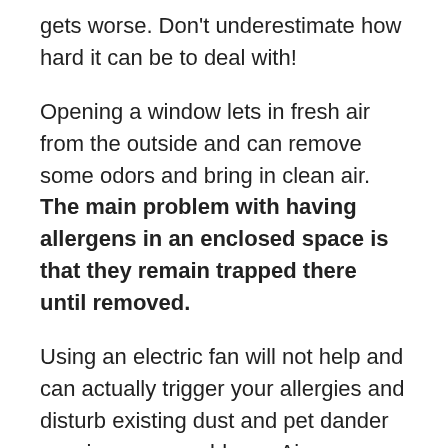gets worse. Don't underestimate how hard it can be to deal with!
Opening a window lets in fresh air from the outside and can remove some odors and bring in clean air. The main problem with having allergens in an enclosed space is that they remain trapped there until removed.
Using an electric fan will not help and can actually trigger your allergies and disturb existing dust and pet dander causing more problems. Air fresheners do not actually remove odors and have no effect on contaminants in the air.
As allergens like pet dander and dust mite waste are incredibly small they'll simply increase and increase